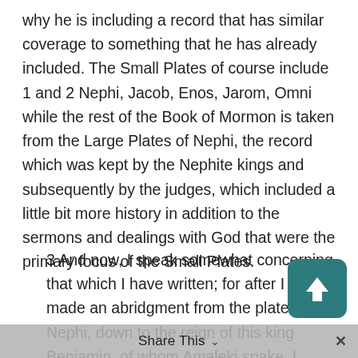why he is including a record that has similar coverage to something that he has already included. The Small Plates of course include 1 and 2 Nephi, Jacob, Enos, Jarom, Omni while the rest of the Book of Mormon is taken from the Large Plates of Nephi, the record which was kept by the Nephite kings and subsequently by the judges, which included a little bit more history in addition to the sermons and dealings with God that were the primary focus of the Small Plates.
3 And now, I speak somewhat concerning that which I have written; for after I had made an abridgment from the plates of Nephi, down to the reign of this king Benjamin, of whom Amaleki spake, I searched among the records which had been delivered into my hands, and I
Share This